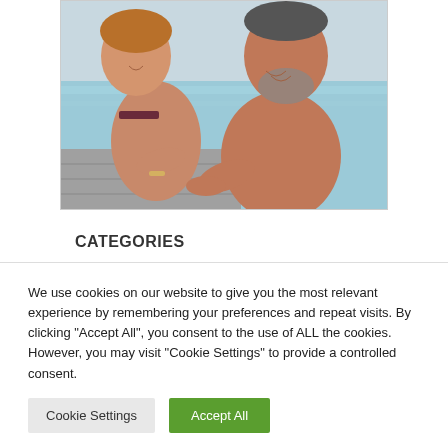[Figure (photo): Two middle-aged people, a man and a woman in swimwear, smiling and leaning on the edge of a pool. The man is shirtless with gray stubble, the woman is wearing a bikini top. They are photographed from above near a wooden pool deck.]
CATEGORIES
We use cookies on our website to give you the most relevant experience by remembering your preferences and repeat visits. By clicking “Accept All”, you consent to the use of ALL the cookies. However, you may visit "Cookie Settings" to provide a controlled consent.
Cookie Settings
Accept All